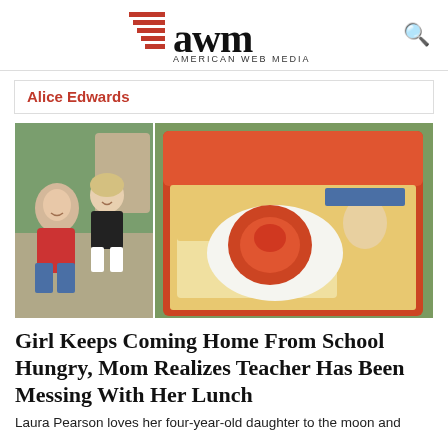AWM American Web Media
Alice Edwards
[Figure (photo): Left: a woman in a red top hugging a young girl in a black outfit outdoors. Right: an open red lunchbox containing a sandwich, tomato, and an egg.]
Girl Keeps Coming Home From School Hungry, Mom Realizes Teacher Has Been Messing With Her Lunch
Laura Pearson loves her four-year-old daughter to the moon and